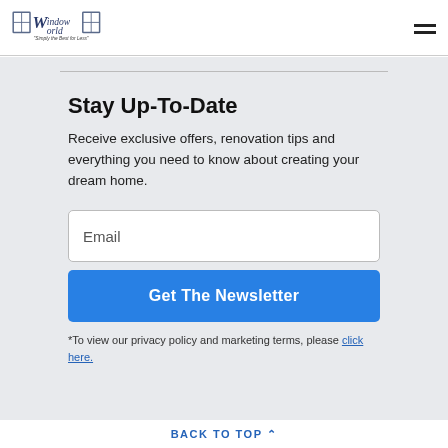[Figure (logo): Window World logo with text 'Simply the Best for Less']
Stay Up-To-Date
Receive exclusive offers, renovation tips and everything you need to know about creating your dream home.
Email
Get The Newsletter
*To view our privacy policy and marketing terms, please click here.
BACK TO TOP ^